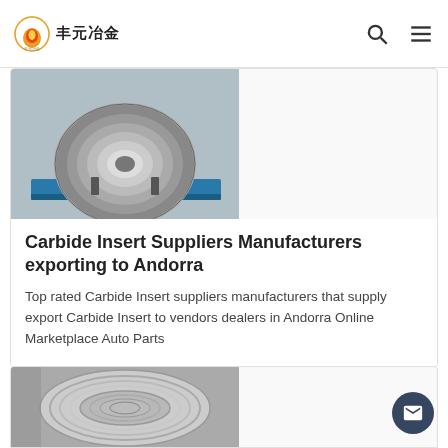丰元冶金 [logo with search and menu icons]
[Figure (photo): Industrial spool/reel of wire or cable on a blue metal pallet]
Carbide Insert Suppliers Manufacturers exporting to Andorra
Top rated Carbide Insert suppliers manufacturers that supply export Carbide Insert to vendors dealers in Andorra Online Marketplace Auto Parts
[Figure (photo): A coiled roll of metallic wire or aluminum strip in black and white]